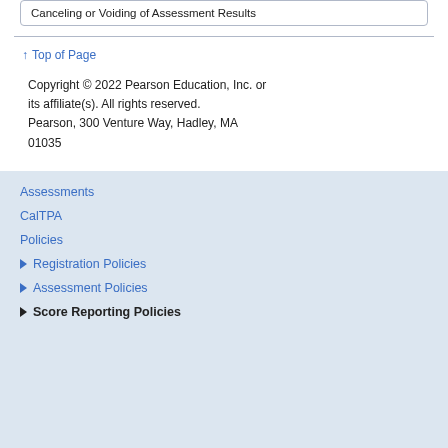Canceling or Voiding of Assessment Results
Top of Page
Copyright © 2022 Pearson Education, Inc. or its affiliate(s). All rights reserved. Pearson, 300 Venture Way, Hadley, MA 01035
Assessments
CalTPA
Policies
Registration Policies
Assessment Policies
Score Reporting Policies